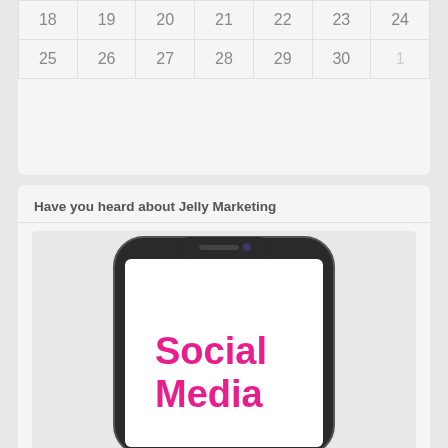| 18 | 19 | 20 | 21 | 22 | 23 | 24 |
| 25 | 26 | 27 | 28 | 29 | 30 | 1 |
Have you heard about Jelly Marketing
[Figure (illustration): Smartphone (iPhone X style) displaying 'Social Media' text in bold pink/magenta on white screen]